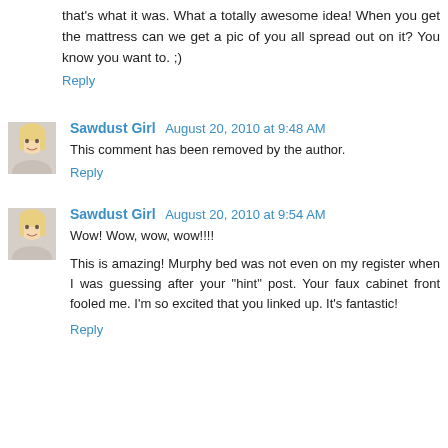that's what it was. What a totally awesome idea! When you get the mattress can we get a pic of you all spread out on it? You know you want to. ;)
Reply
Sawdust Girl August 20, 2010 at 9:48 AM
This comment has been removed by the author.
Reply
Sawdust Girl August 20, 2010 at 9:54 AM
Wow! Wow, wow, wow!!!!
This is amazing! Murphy bed was not even on my register when I was guessing after your "hint" post. Your faux cabinet front fooled me. I'm so excited that you linked up. It's fantastic!
Reply